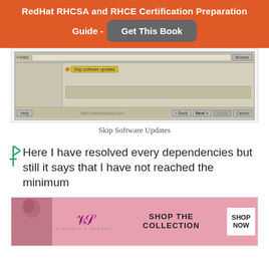RedHat RHCSA and RHCE Certification Preparation Guide - Get This Book
[Figure (screenshot): Software update screen showing 'Skip software updates' option selected, with Help, Back, Next, and Cancel buttons at the bottom.]
Skip Software Updates
Here I have resolved every dependencies but still it says that I have not reached the minimum
[Figure (photo): Victoria's Secret advertisement banner with model, VS logo, 'SHOP THE COLLECTION' text and 'SHOP NOW' button.]